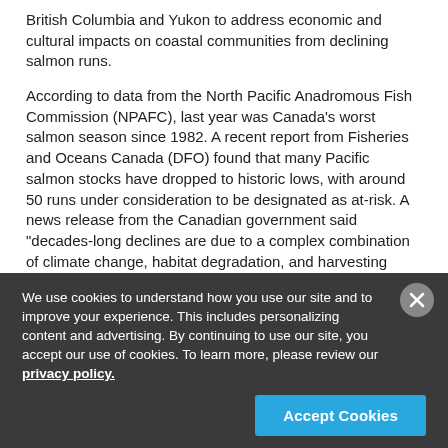British Columbia and Yukon to address economic and cultural impacts on coastal communities from declining salmon runs.
According to data from the North Pacific Anadromous Fish Commission (NPAFC), last year was Canada's worst salmon season since 1982. A recent report from Fisheries and Oceans Canada (DFO) found that many Pacific salmon stocks have dropped to historic lows, with around 50 runs under consideration to be designated as at-risk. A news release from the Canadian government said "decades-long declines are due to a complex combination of climate change, habitat degradation, and harvesting impacts, and bold action is needed now to stabilize and rebuild the stocks before it is too late."
We use cookies to understand how you use our site and to improve your experience. This includes personalizing content and advertising. By continuing to use our site, you accept our use of cookies. To learn more, please review our privacy policy.